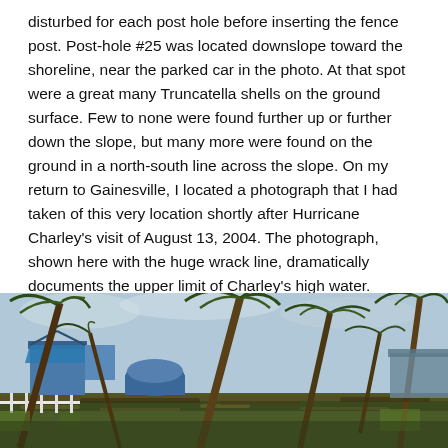disturbed for each post hole before inserting the fence post. Post-hole #25 was located downslope toward the shoreline, near the parked car in the photo. At that spot were a great many Truncatella shells on the ground surface. Few to none were found further up or further down the slope, but many more were found on the ground in a north-south line across the slope. On my return to Gainesville, I located a photograph that I had taken of this very location shortly after Hurricane Charley's visit of August 13, 2004. The photograph, shown here with the huge wrack line, dramatically documents the upper limit of Charley's high water.
[Figure (photo): Photograph taken shortly after Hurricane Charley's visit on August 13, 2004, showing hurricane damage with fallen and leaning palm trees, damaged structures with blue tarps visible, and debris on the ground, documenting the upper limit of Charley's high water wrack line.]